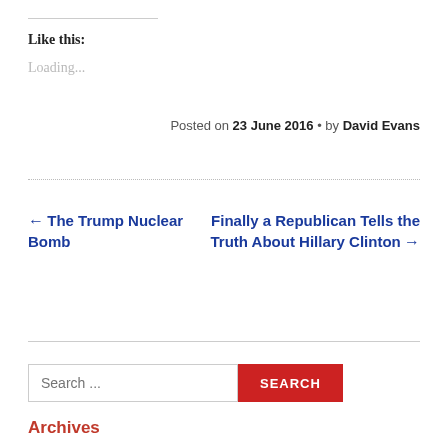Like this:
Loading...
Posted on 23 June 2016 • by David Evans
← The Trump Nuclear Bomb
Finally a Republican Tells the Truth About Hillary Clinton →
Search ...
Archives